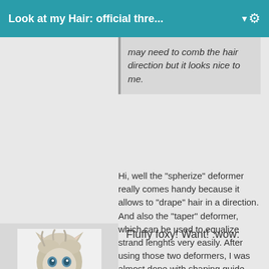Look at my Hair: official thre... ▼
may need to comb the hair direction but it looks nice to me.
Hi, well the "spherize" deformer really comes handy because it allows to "drape" hair in a direction. And also the "taper" deformer, which can be used to equalize strand lenghts very easily. After using those two deformers, I was almost done with shaping guide hair.
[Figure (illustration): An illustrated avatar showing a fluffy fox character with light-colored hair]
Fluffy foxy! Want! :wow: